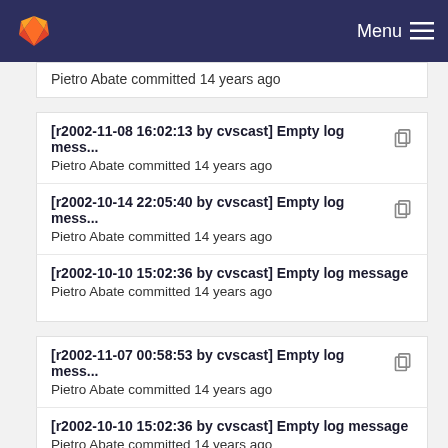Menu
[r2002-11-08 16:02:13 by cvscast] Empty log mess...
Pietro Abate committed 14 years ago
[r2002-10-14 22:05:40 by cvscast] Empty log mess...
Pietro Abate committed 14 years ago
[r2002-10-10 15:02:36 by cvscast] Empty log message
Pietro Abate committed 14 years ago
[r2002-11-07 00:58:53 by cvscast] Empty log mess...
Pietro Abate committed 14 years ago
[r2002-10-10 15:02:36 by cvscast] Empty log message
Pietro Abate committed 14 years ago
[r2002-10-10 16:39:45 by cvscast] Empty log mess...
Pietro Abate committed 14 years ago